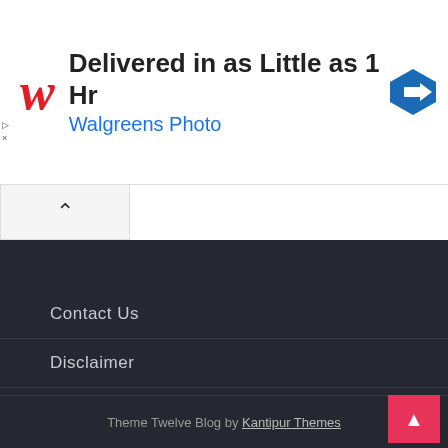[Figure (screenshot): Walgreens advertisement banner: red cursive W logo, text 'Delivered in as Little as 1 Hr' and 'Walgreens Photo' in blue, blue diamond navigation icon on right]
Contact Us
Disclaimer
Privacy Policy
Theme Twelve Blog by Kantipur Themes